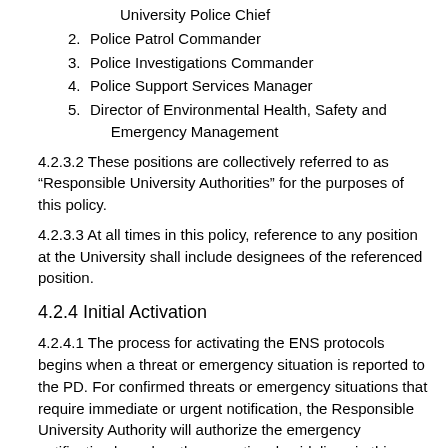University Police Chief
2. Police Patrol Commander
3. Police Investigations Commander
4. Police Support Services Manager
5. Director of Environmental Health, Safety and Emergency Management
4.2.3.2 These positions are collectively referred to as “Responsible University Authorities” for the purposes of this policy.
4.2.3.3 At all times in this policy, reference to any position at the University shall include designees of the referenced position.
4.2.4 Initial Activation
4.2.4.1 The process for activating the ENS protocols begins when a threat or emergency situation is reported to the PD. For confirmed threats or emergency situations that require immediate or urgent notification, the Responsible University Authority will authorize the emergency notification based on the operational guidelines in this policy.
4.2.4.2 It should be noted that, for the majority of